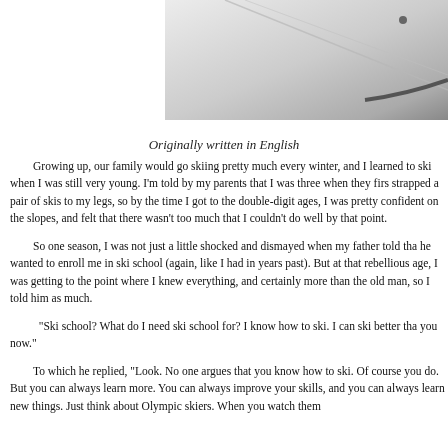[Figure (photo): Partial photo of ski slope or skis, light gray and white tones with diagonal lines and a small dark dot visible.]
Originally written in English
Growing up, our family would go skiing pretty much every winter, and I learned to ski when I was still very young. I'm told by my parents that I was three when they first strapped a pair of skis to my legs, so by the time I got to the double-digit ages, I was pretty confident on the slopes, and felt that there wasn't too much that I couldn't do well by that point.
So one season, I was not just a little shocked and dismayed when my father told that he wanted to enroll me in ski school (again, like I had in years past). But at that rebellious age, I was getting to the point where I knew everything, and certainly more than the old man, so I told him as much.
“Ski school? What do I need ski school for? I know how to ski. I can ski better tha you now.”
To which he replied, “Look. No one argues that you know how to ski. Of course you do. But you can always learn more. You can always improve your skills, and you can always learn new things. Just think about Olympic skiers. When you watch them